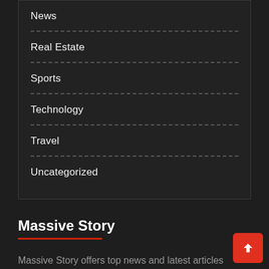News
Real Estate
Sports
Technology
Travel
Uncategorized
Massive Story
Massive Story offers top news and latest articles across world in business, stocks, market, entertainment, Travel, Tech, health discussions and more.